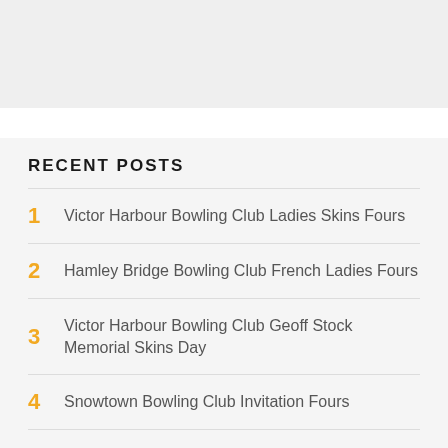[Figure (other): Gray placeholder image block at top of page]
RECENT POSTS
1  Victor Harbour Bowling Club Ladies Skins Fours
2  Hamley Bridge Bowling Club French Ladies Fours
3  Victor Harbour Bowling Club Geoff Stock Memorial Skins Day
4  Snowtown Bowling Club Invitation Fours
5  Club Holdfast Brown Day